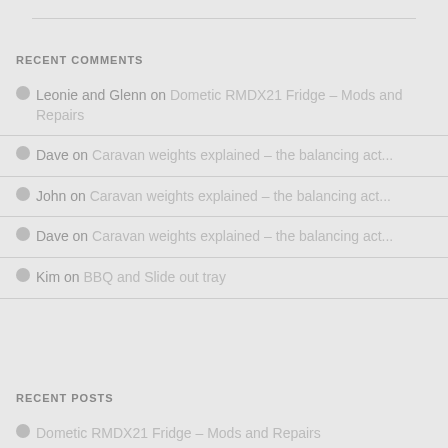RECENT COMMENTS
Leonie and Glenn on Dometic RMDX21 Fridge – Mods and Repairs
Dave on Caravan weights explained – the balancing act...
John on Caravan weights explained – the balancing act...
Dave on Caravan weights explained – the balancing act...
Kim on BBQ and Slide out tray
RECENT POSTS
Dometic RMDX21 Fridge – Mods and Repairs